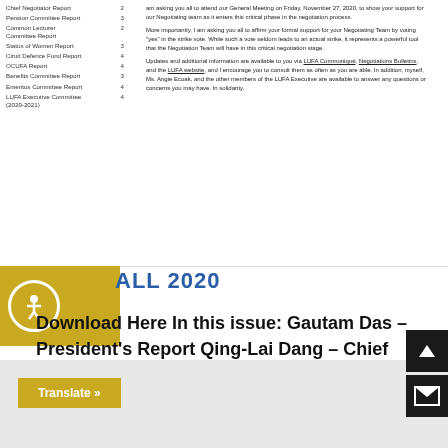Chief Negotiator Report  2
Pension Committee Report  3
Common Lecturer Committee Report  2
Status of Women Report  3
Ciruit Defence Fund Report  4
OCUFA Report  4
Benefits Committee Report  3
Emeritus Committee Report  4
LUFA Executive Committee (2020-2021)  4
am asking you all to attend our General Meeting on Friday, November 27, 2020, to show your support for our Negotiating team as it enters this critical phase in the negotiation process. More importantly, I am asking you all to affirm your formal support for your Negotiating Team by voting "yes" in the strike vote. While such a vote seldom leads to an actual strike, it represents a powerful tool that the Negotiation Team will have in this critical negotiation stage. Updates and additional information are available to you via LUFA Communiqué, Negotiations Bulletins, and the LUFA website, and I encourage you to consult them as often as you are able. In addition, myself, Ms. Angie Ecoak, and the other members of the LUFA Executive are available to answer any questions or concerns you may have. In solidarity.
FALL 2020
Download Here In this issue: Gautam Das – President's Report Qing-Lai Dang – Chief Grievance Officer Report Ken Hartviksen – Chief Negotiator Report Glenn Colton – [...]
[Figure (other): Accessibility icon - person in circle on yellow/gold background]
Translate »